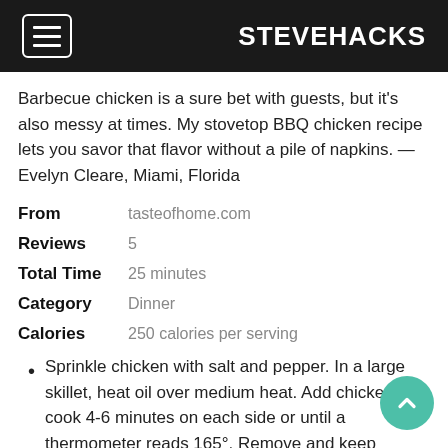STEVEHACKS
Barbecue chicken is a sure bet with guests, but it's also messy at times. My stovetop BBQ chicken recipe lets you savor that flavor without a pile of napkins. — Evelyn Cleare, Miami, Florida
From   tasteofhome.com
Reviews   5
Total Time   25 minutes
Category   Dinner
Calories   250 calories per serving
Sprinkle chicken with salt and pepper. In a large skillet, heat oil over medium heat. Add chicken; cook 4-6 minutes on each side or until a thermometer reads 165°. Remove and keep warm., Add onion and red pepper to same pan and cook 5-6 minutes or until tender. Add...